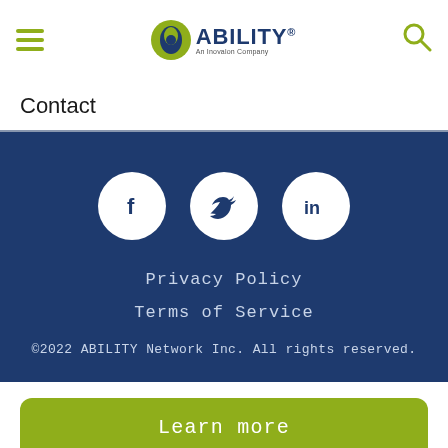ABILITY® An Inovalon Company
Contact
[Figure (logo): ABILITY An Inovalon Company logo with green circle icon and text]
Privacy Policy
Terms of Service
©2022 ABILITY Network Inc. All rights reserved.
Learn more